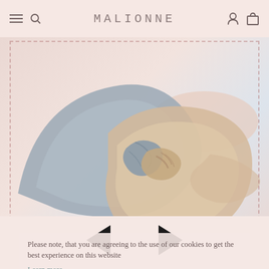MALIONNE
[Figure (photo): Two fabric headbands with knotted tops — one grey/blue and one nude/blush — photographed against a light pink background. The headbands are intertwined and display their knot detail prominently.]
Please note, that you are agreeing to the use of our cookies to get the best experience on this website
Learn more
ANGELA HEADBAND
$9.50
I AGREE